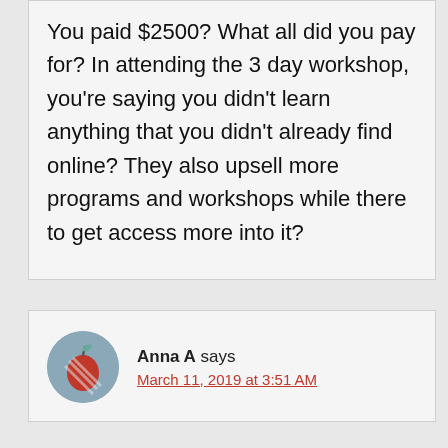You paid $2500? What all did you pay for? In attending the 3 day workshop, you're saying you didn't learn anything that you didn't already find online? They also upsell more programs and workshops while there to get access more into it?
[Figure (illustration): User avatar: circular blue-grey icon with red diagonal striped apple illustration]
Anna A says
March 11, 2019 at 3:51 AM